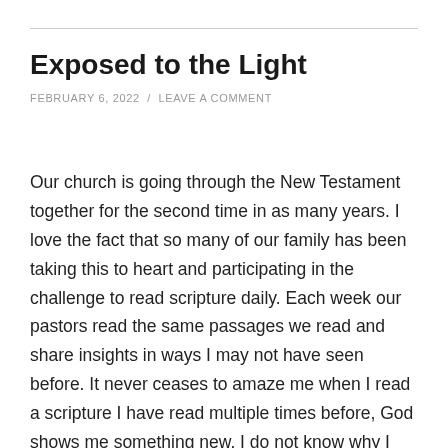Exposed to the Light
FEBRUARY 6, 2022 / LEAVE A COMMENT
Our church is going through the New Testament together for the second time in as many years. I love the fact that so many of our family has been taking this to heart and participating in the challenge to read scripture daily. Each week our pastors read the same passages we read and share insights in ways I may not have seen before. It never ceases to amaze me when I read a scripture I have read multiple times before, God shows me something new. I do not know why I am surprised by that. He has been doing it ever since I became a Christian at the age of 12.